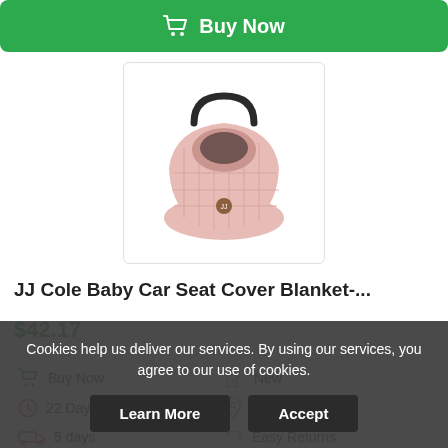[Figure (other): Green Buy Now button with shopping cart icon]
[Figure (photo): Pink JJ Cole Baby Car Seat Cover Blanket product image]
JJ Cole Baby Car Seat Cover Blanket-...
$42.17
Buy Now
New
22 Day(s) 4 h(s)
Worldwide
5 days
Easy Returns
Cookies help us deliver our services. By using our services, you agree to our use of cookies.
Learn More
Accept